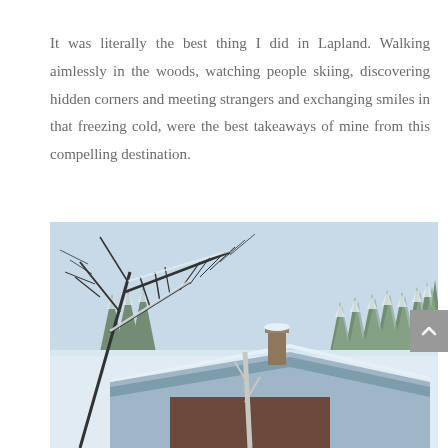It was literally the best thing I did in Lapland. Walking aimlessly in the woods, watching people skiing, discovering hidden corners and meeting strangers and exchanging smiles in that freezing cold, were the best takeaways of mine from this compelling destination.
[Figure (photo): Winter scene in Lapland showing a snow-covered wooden cabin roof with a chimney, bare tree branches laden with snow in the foreground, and snow-covered pine forest in the background under a pale winter sky.]